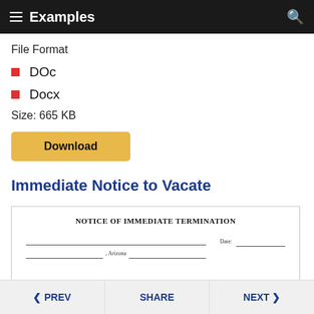Examples
File Format
DOc
Docx
Size: 665 KB
Download
Immediate Notice to Vacate
[Figure (other): Preview of a legal document titled NOTICE OF IMMEDIATE TERMINATION with fields for date and Arizona location]
< PREV   SHARE   NEXT >